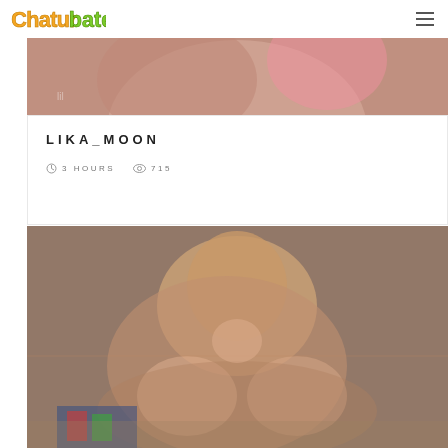Chaturbate
[Figure (photo): Close-up webcam photo of a person, blurred, warm tones, partial view]
LIKA_MOON
3 HOURS   715
[Figure (photo): Webcam photo of a young woman with brown hair in a dimly lit room]